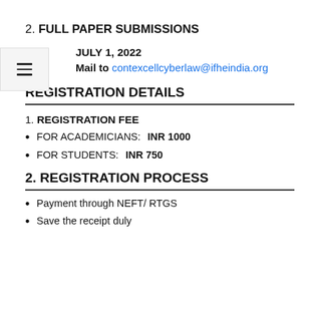2. FULL PAPER SUBMISSIONS
JULY 1, 2022
Mail to contexcellcyberlaw@ifheindia.org
REGISTRATION DETAILS
1. REGISTRATION FEE
FOR ACADEMICIANS: INR 1000
FOR STUDENTS: INR 750
2. REGISTRATION PROCESS
Payment through NEFT/ RTGS
Save the receipt duly